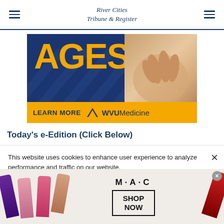River Cities Tribune & Register
[Figure (illustration): WVU Medicine advertisement with 'AGES' in gold text on navy blue background, hands image, and 'LEARN MORE WVU Medicine' bar at bottom]
Today's e-Edition (Click Below)
This website uses cookies to enhance user experience to analyze performance and traffic on our website.
[Figure (illustration): M·A·C cosmetics advertisement showing lipsticks and 'SHOP NOW' call to action]